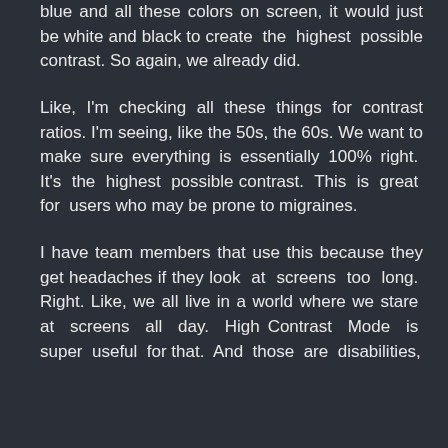blue and all these colors on screen, it would just be white and black to create the highest possible contrast. So again, we already did.
Like, I'm checking all these things for contrast ratios. I'm seeing, like the 50s, the 60s. We want to make sure everything is essentially 100% right. It's the highest possible contrast. This is great for users who may be prone to migraines.
I have team members that use this because they get headaches if they look at screens too long. Right. Like, we all live in a world where we stare at screens all day. High Contrast Mode is super useful for that. And those are disabilities,